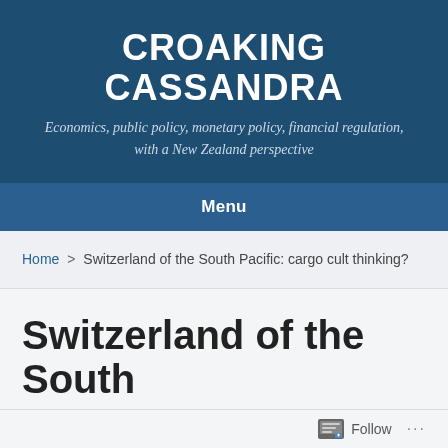CROAKING CASSANDRA
Economics, public policy, monetary policy, financial regulation, with a New Zealand perspective
Menu
Home > Switzerland of the South Pacific: cargo cult thinking?
Switzerland of the South